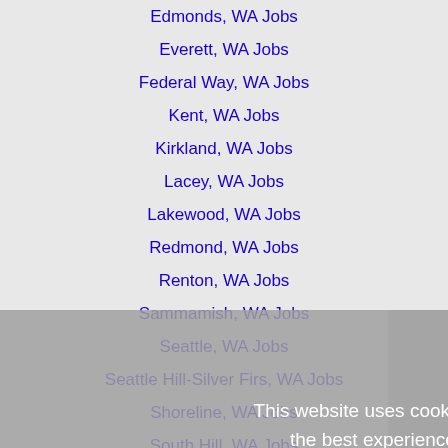Edmonds, WA Jobs
Everett, WA Jobs
Federal Way, WA Jobs
Kent, WA Jobs
Kirkland, WA Jobs
Lacey, WA Jobs
Lakewood, WA Jobs
Redmond, WA Jobs
Renton, WA Jobs
Sammamish, WA Jobs
Seattle, WA Jobs
Seattle Hill-Silver Firs, WA Jobs
Shoreline, WA Jobs
South Hill, WA Jobs
Tacoma, WA Jobs
Vancouver, WA Jobs
This website uses cookies to ensure you get the best experience on our website.
Learn more
Got it!